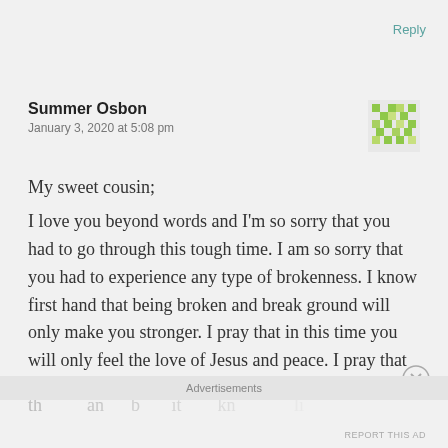Reply
Summer Osbon
January 3, 2020 at 5:08 pm
My sweet cousin;
I love you beyond words and I'm so sorry that you had to go through this tough time. I am so sorry that you had to experience any type of brokenness. I know first hand that being broken and break ground will only make you stronger. I pray that in this time you will only feel the love of Jesus and peace. I pray that you never give up even when it hurts more than you can bear, knowing that living of the l…
Advertisements